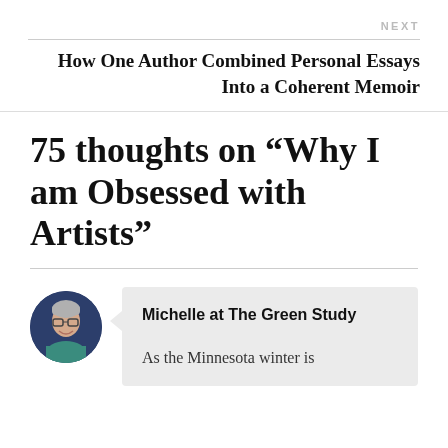NEXT
How One Author Combined Personal Essays Into a Coherent Memoir
75 thoughts on “Why I am Obsessed with Artists”
[Figure (photo): Circular avatar photo of a woman with short gray hair and glasses, wearing a teal top, on a dark blue background]
Michelle at The Green Study
As the Minnesota winter is